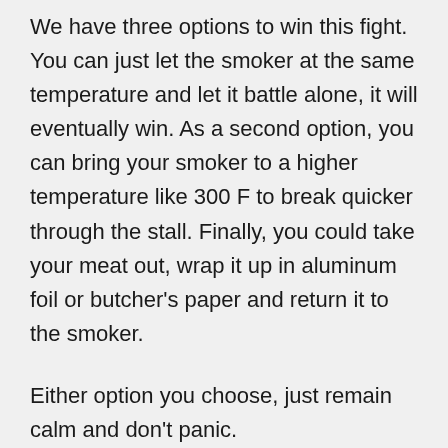We have three options to win this fight. You can just let the smoker at the same temperature and let it battle alone, it will eventually win. As a second option, you can bring your smoker to a higher temperature like 300 F to break quicker through the stall. Finally, you could take your meat out, wrap it up in aluminum foil or butcher's paper and return it to the smoker.
Either option you choose, just remain calm and don't panic.
BBQ seasonings – Smoking Meat for Deak